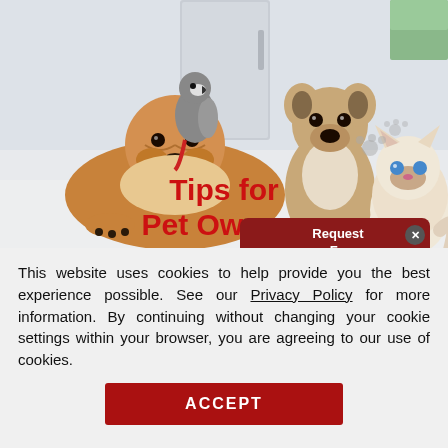[Figure (photo): Photo of pets including a bulldog lying down, a grey parrot on the bulldog's back, a French bulldog sitting, and a Himalayan cat, with text overlay 'Tips for Pet Owners' in red and a dark red popup saying 'Request a Free...']
This website uses cookies to help provide you the best experience possible. See our Privacy Policy for more information. By continuing without changing your cookie settings within your browser, you are agreeing to our use of cookies.
ACCEPT